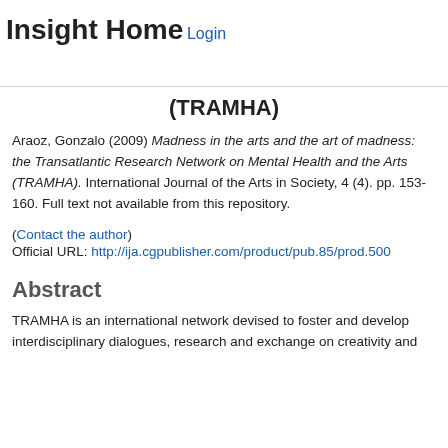Insight Home
Login
(TRAMHA)
Araoz, Gonzalo (2009) Madness in the arts and the art of madness: the Transatlantic Research Network on Mental Health and the Arts (TRAMHA). International Journal of the Arts in Society, 4 (4). pp. 153-160. Full text not available from this repository.
(Contact the author)
Official URL: http://ija.cgpublisher.com/product/pub.85/prod.500
Abstract
TRAMHA is an international network devised to foster and develop interdisciplinary dialogues, research and exchange on creativity and